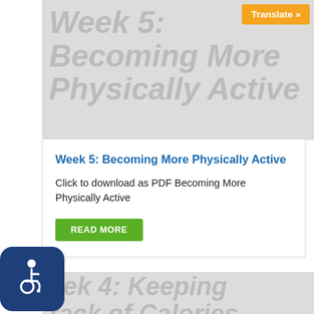[Figure (illustration): Gray banner background with large watermark-style italic text reading 'Week 5: Becoming More Physically Active', with an orange 'Translate »' button in the top-right corner]
Week 5: Becoming More Physically Active
Click to download as PDF Becoming More Physically Active
READ MORE
[Figure (illustration): Gray banner background with large watermark-style italic text reading 'Week 4: Keeping Track of Calories', partially obscured by an accessibility icon (wheelchair symbol) in the bottom-left]